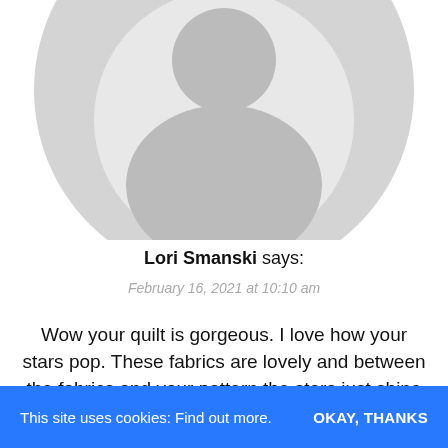[Figure (illustration): Generic user avatar silhouette — circular grey image with person outline (head and torso) clipped in a circle, top portion visible]
Lori Smanski says:
February 16, 2021 at 10:10 am
Wow your quilt is gorgeous. I love how your stars pop. These fabrics are lovely and between the fabrics and your pattern the stars just shine big time. Other than church my main charity is Cat House on
This site uses cookies: Find out more.  OKAY, THANKS